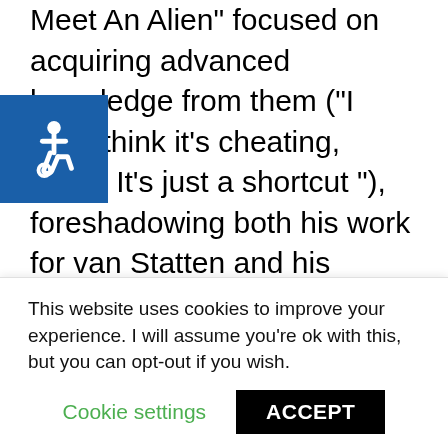Meet An Alien" focused on acquiring advanced knowledge from them (“I don’t think it’s cheating, really. It’s just a shortcut ”), foreshadowing both his work for van Statten and his actions later. In the online game The Last Dalek, which presents an alternate version of the events of Dalek, Adam does not appear, but he has an entry in the Dalek’s memory files. He is described as “Male
[Figure (other): Accessibility button icon (wheelchair symbol) on blue background]
This website uses cookies to improve your experience. I will assume you’re ok with this, but you can opt-out if you wish.
Cookie settings   ACCEPT